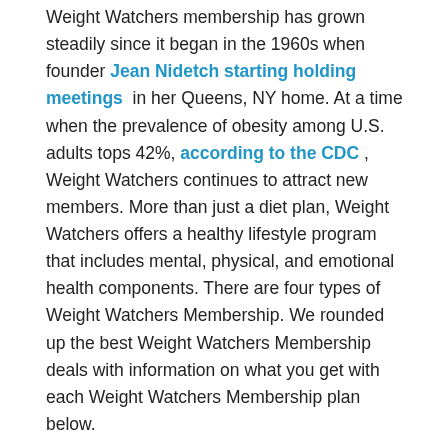Weight Watchers membership has grown steadily since it began in the 1960s when founder Jean Nidetch starting holding meetings in her Queens, NY home. At a time when the prevalence of obesity among U.S. adults tops 42%, according to the CDC , Weight Watchers continues to attract new members. More than just a diet plan, Weight Watchers offers a healthy lifestyle program that includes mental, physical, and emotional health components. There are four types of Weight Watchers Membership. We rounded up the best Weight Watchers Membership deals with information on what you get with each Weight Watchers Membership plan below.
Don't Miss: Helzberg Diamonds Discount
Weight Watchers Coupons Reviews And Savings Tips